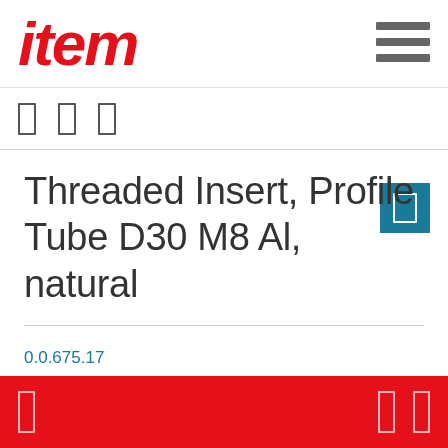[Figure (logo): item logo in red italic bold text]
Threaded Insert, Profile Tube D30 M8 Al, natural
0.0.675.17
Threaded Insert, Profile Tube D30 M8 Al, natural
Delivery unit
1 pce.